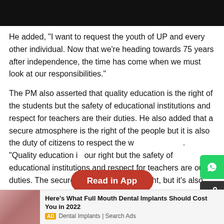[Figure (other): Black bar at top of page, partially obscuring header content]
He added, "I want to request the youth of UP and every other individual. Now that we're heading towards 75 years after independence, the time has come when we must look at our responsibilities."
The PM also asserted that quality education is the right of the students but the safety of educational institutions and respect for teachers are their duties. He also added that a secure atmosphere is the right of the people but it is also the duty of citizens to respect the w[ork of police]. "Quality education i[s] our right but the safety of educational institutions and respect for teachers are our duties. The secure atmosphere is our right, but it's also the duty of citizens to respect the work of police," added P[M]
[Figure (other): Red pill-shaped 'Read in App' button overlay]
[Figure (other): WhatsApp share button (green) on right edge]
[Figure (other): Share button (dark grey) on right edge below WhatsApp button]
[Figure (other): Advertisement banner at bottom: Here's What Full Mouth Dental Implants Should Cost You in 2022, AD Dental Implants | Search Ads]